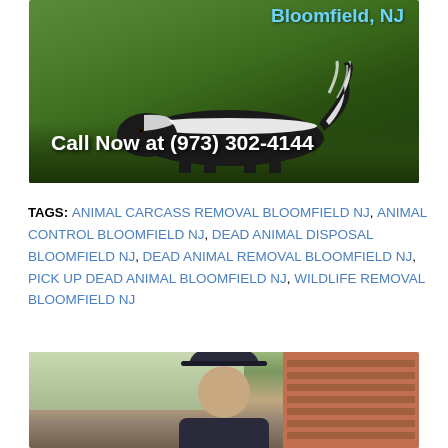[Figure (photo): Photo of a skunk in green foliage with text overlay: 'Bloomfield, NJ' in blue at top right and 'Call Now at (973) 302-4144' in white bold at bottom left]
TAGS: ANIMAL CARCASS REMOVAL BLOOMFIELD NJ, ANIMAL CONTROL BLOOMFIELD NJ, DEAD ANIMAL DISPOSAL BLOOMFIELD NJ, DEAD ANIMAL REMOVAL BLOOMFIELD NJ, PICK UP DEAD ANIMAL BLOOMFIELD NJ, WILDLIFE REMOVAL BLOOMFIELD NJ
[Figure (photo): Photo of a person wearing a dark cap near a brick building, partially visible at bottom of page]